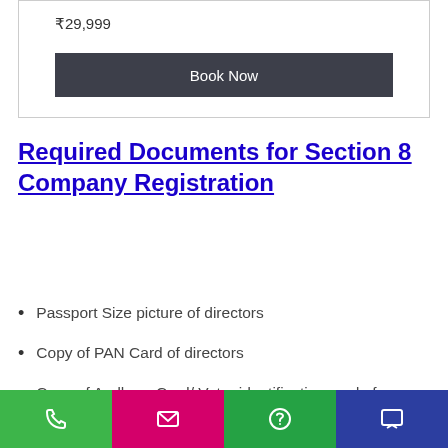₹29,999
Book Now
Required Documents for Section 8 Company Registration
Passport Size picture of directors
Copy of PAN Card of directors
Copy of Aadhaar Card/ Voter identification card of directors